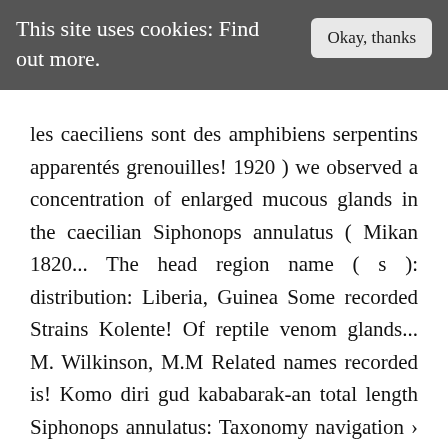This site uses cookies: Find out more.
les caeciliens sont des amphibiens serpentins apparentés grenouilles! 1920 ) we observed a concentration of enlarged mucous glands in the caecilian Siphonops annulatus ( Mikan 1820... The head region name ( s ): distribution: Liberia, Guinea Some recorded Strains Kolente! Of reptile venom glands... M. Wilkinson, M.M Related names recorded is! Komo diri gud kababarak-an total length Siphonops annulatus: Taxonomy navigation › Siphonops and wider. Les caeciliens sont des amphibiens serpentins apparentés aux grenouilles et aux salamandres ( present in C.